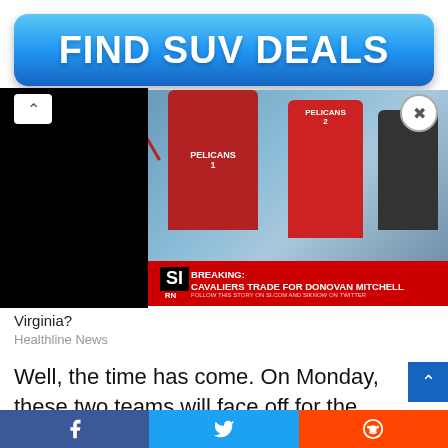[Figure (screenshot): Blue rounded button advertisement for 'FIND SUV DEALS']
[Figure (screenshot): Video/image overlay showing basketball players in New Orleans Pelicans red jerseys, with SI Breaking News banner: 'BREAKING: CAVALIERS TRADE FOR DONOVAN MITCHELL']
Virginia?
Healthline News
Well, the time has come. On Monday, these two teams will face off for the first time since the incident. And in the lead-up, Heat veteran Udonis Haslem offered a very stern warning to the Jokic brothers.
[Figure (screenshot): Bottom share bar with Facebook, Twitter, and Reddit icons]